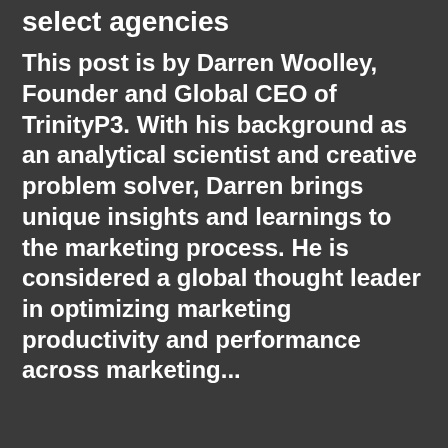select agencies
This post is by Darren Woolley, Founder and Global CEO of TrinityP3. With his background as an analytical scientist and creative problem solver, Darren brings unique insights and learnings to the marketing process. He is considered a global thought leader in optimizing marketing productivity and performance across marketing...